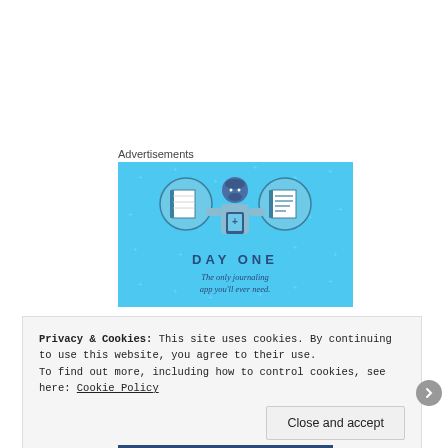Advertisements
[Figure (illustration): Day One app advertisement on a light blue background. Shows three circular icons: a blank notebook, a person using a phone, and a lined notebook. Text reads 'DAY ONE' and 'The only journaling app you'll ever need.']
Privacy & Cookies: This site uses cookies. By continuing to use this website, you agree to their use.
To find out more, including how to control cookies, see here: Cookie Policy
Close and accept